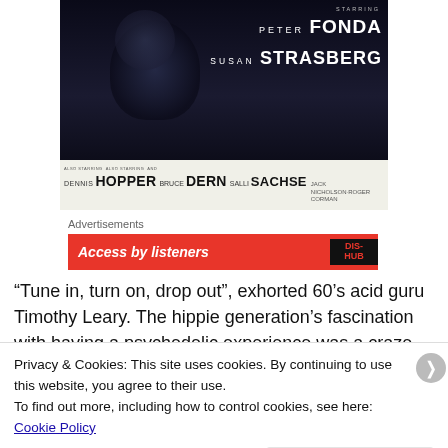[Figure (photo): Movie poster for a 1960s psychedelic film. Dark background with figure at top. Starring Peter Fonda, Susan Strasberg. Also starring Dennis Hopper, Bruce Dern, Salli Sachse. Jack Nicholson, Roger Corman.]
Advertisements
[Figure (other): Red advertisement banner with white italic text and Dis-HUD logo on dark background]
“Tune in, turn on, drop out”, exhorted 60’s acid guru Timothy Leary. The hippie generation’s fascination with having a psychedelic experience was a ground for
Privacy & Cookies: This site uses cookies. By continuing to use this website, you agree to their use.
To find out more, including how to control cookies, see here: Cookie Policy
Close and accept